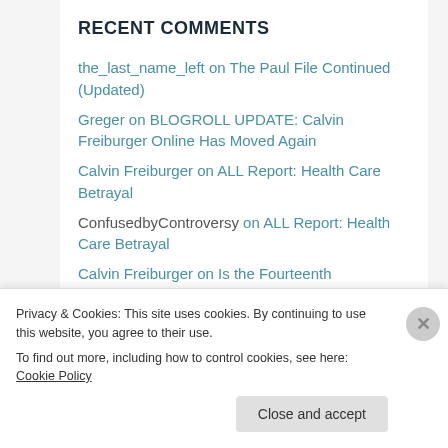RECENT COMMENTS
the_last_name_left on The Paul File Continued (Updated)
Greger on BLOGROLL UPDATE: Calvin Freiburger Online Has Moved Again
Calvin Freiburger on ALL Report: Health Care Betrayal
ConfusedbyControversy on ALL Report: Health Care Betrayal
Calvin Freiburger on Is the Fourteenth Amendment Illegitimate?
The views expressed on this weblog are strictly my
Privacy & Cookies: This site uses cookies. By continuing to use this website, you agree to their use. To find out more, including how to control cookies, see here: Cookie Policy
Close and accept